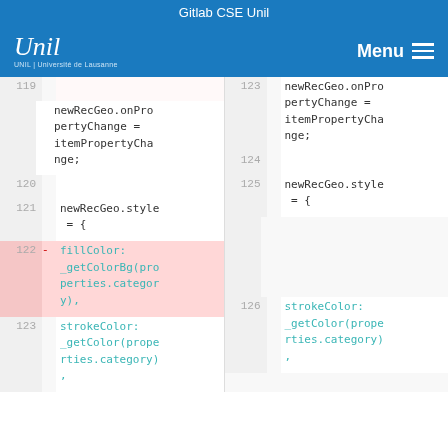Gitlab CSE Unil
[Figure (screenshot): UNIL logo and Menu navigation header on blue background]
Code diff view showing lines 119-126 with newRecGeo.onPropertyChange = itemPropertyChange; newRecGeo.style = { fillColor: _getColorBg(properties.category), strokeColor: _getColor(properties.category),
Line 122 removed: fillColor: _getColorBg(properties.category),